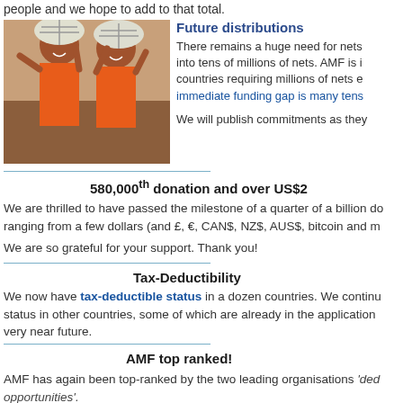people and we hope to add to that total.
[Figure (photo): Two children in orange shirts carrying large bundled packages of nets on their heads, smiling.]
Future distributions
There remains a huge need for nets into tens of millions of nets. AMF is i countries requiring millions of nets e immediate funding gap is many tens
We will publish commitments as they
580,000th donation and over US$2
We are thrilled to have passed the milestone of a quarter of a billion do ranging from a few dollars (and £, €, CAN$, NZ$, AUS$, bitcoin and m
We are so grateful for your support. Thank you!
Tax-Deductibility
We now have tax-deductible status in a dozen countries. We continu status in other countries, some of which are already in the application very near future.
AMF top ranked!
AMF has again been top-ranked by the two leading organisations 'ded opportunities'.